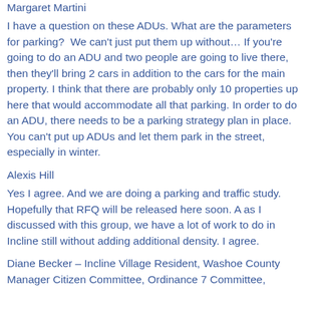Margaret Martini
I have a question on these ADUs. What are the parameters for parking?  We can't just put them up without… If you're going to do an ADU and two people are going to live there, then they'll bring 2 cars in addition to the cars for the main property. I think that there are probably only 10 properties up here that would accommodate all that parking. In order to do an ADU, there needs to be a parking strategy plan in place. You can't put up ADUs and let them park in the street, especially in winter.
Alexis Hill
Yes I agree. And we are doing a parking and traffic study. Hopefully that RFQ will be released here soon. A as I discussed with this group, we have a lot of work to do in Incline still without adding additional density. I agree.
Diane Becker – Incline Village Resident, Washoe County Manager Citizen Committee, Ordinance 7 Committee,